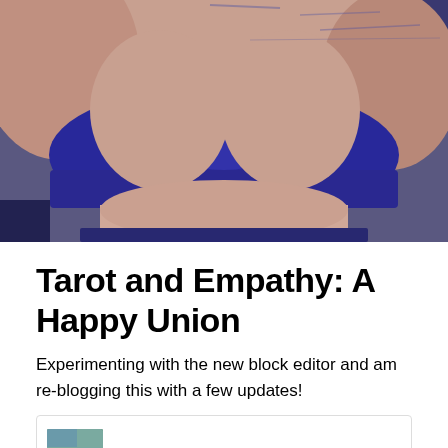[Figure (photo): Close-up photo of a person wearing a dark blue/purple bikini top, torso visible, with water/ocean visible in the background]
Tarot and Empathy: A Happy Union
Experimenting with the new block editor and am re-blogging this with a few updates!
[Figure (photo): Small embedded card/image at the bottom of the page, partially visible]